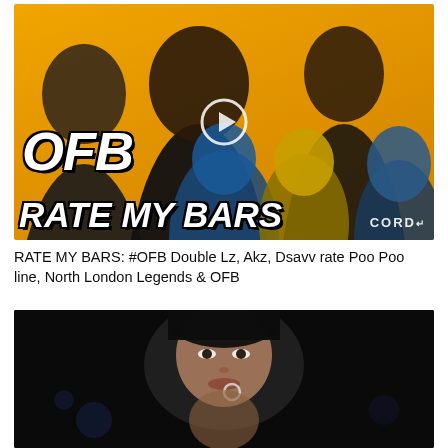[Figure (photo): YouTube thumbnail for 'Rate My Bars' featuring OFB members Double Lz, Akz, Dsavv on an orange background with the text 'OFB RATE MY BARS' and CORD logo]
RATE MY BARS: #OFB Double Lz, Akz, Dsavv rate Poo Poo line, North London Legends & OFB
[Figure (photo): YouTube thumbnail showing a woman's face in a dark/concert setting]